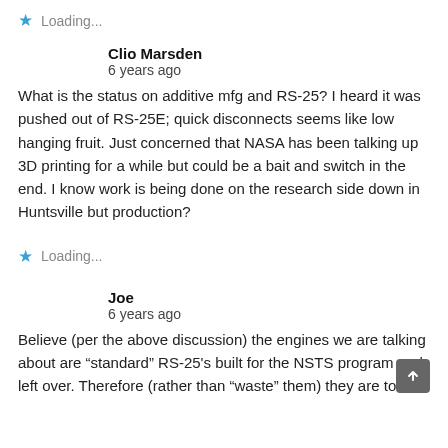★ Loading...
Clio Marsden
6 years ago
What is the status on additive mfg and RS-25? I heard it was pushed out of RS-25E; quick disconnects seems like low hanging fruit. Just concerned that NASA has been talking up 3D printing for a while but could be a bait and switch in the end. I know work is being done on the research side down in Huntsville but production?
★ Loading...
Joe
6 years ago
Believe (per the above discussion) the engines we are talking about are "standard" RS-25's built for the NSTS program and left over. Therefore (rather than "waste" them) they are to be